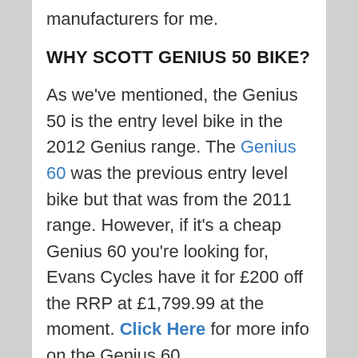manufacturers for me.
WHY SCOTT GENIUS 50 BIKE?
As we've mentioned, the Genius 50 is the entry level bike in the 2012 Genius range. The Genius 60 was the previous entry level bike but that was from the 2011 range. However, if it's a cheap Genius 60 you're looking for, Evans Cycles have it for £200 off the RRP at £1,799.99 at the moment. Click Here for more info on the Genius 60.
Anyway, back to the Genius 50. It's priced at £2,299.99 which makes it £500 more than the 2011 Genius 60 but cheaper than any of the 2012 bikes. The top three bikes in the range...